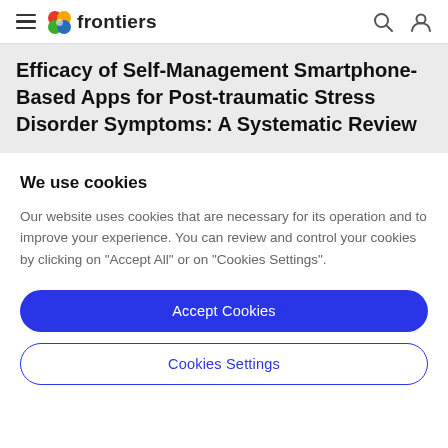frontiers
Efficacy of Self-Management Smartphone-Based Apps for Post-traumatic Stress Disorder Symptoms: A Systematic Review
We use cookies
Our website uses cookies that are necessary for its operation and to improve your experience. You can review and control your cookies by clicking on "Accept All" or on "Cookies Settings".
Accept Cookies
Cookies Settings